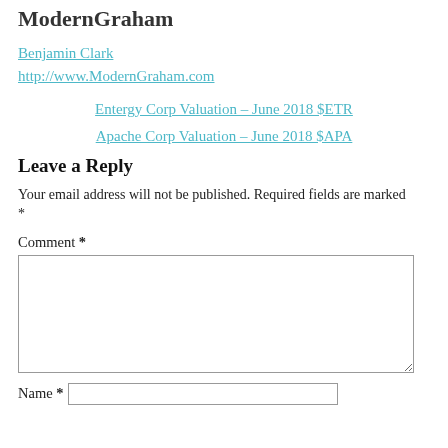ModernGraham
Benjamin Clark
http://www.ModernGraham.com
Entergy Corp Valuation – June 2018 $ETR
Apache Corp Valuation – June 2018 $APA
Leave a Reply
Your email address will not be published. Required fields are marked *
Comment *
Name *